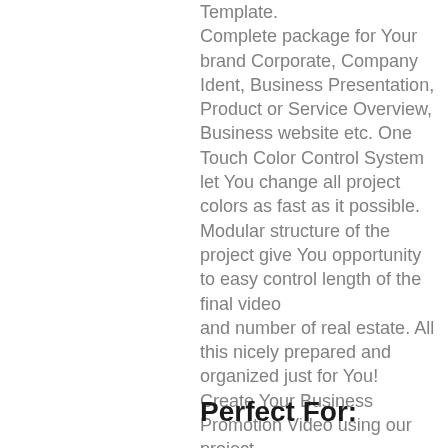Template. Complete package for Your brand Corporate, Company Ident, Business Presentation, Product or Service Overview, Business website etc. One Touch Color Control System let You change all project colors as fast as it possible. Modular structure of the project give You opportunity to easy control length of the final video and number of real estate. All this nicely prepared and organized just for You! Create Your Business Promotion Video using our project. Impress Your Clients! Be creative and feel free to contact with Us If You have any questions.
Perfect For: